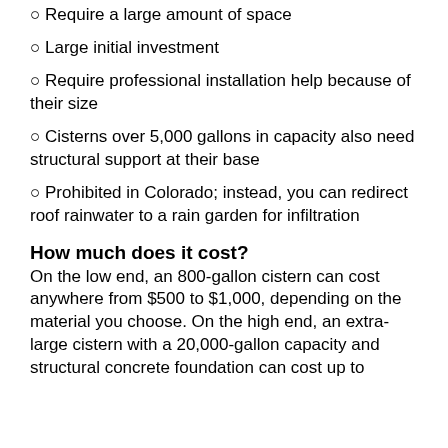Require a large amount of space
Large initial investment
Require professional installation help because of their size
Cisterns over 5,000 gallons in capacity also need structural support at their base
Prohibited in Colorado; instead, you can redirect roof rainwater to a rain garden for infiltration
How much does it cost?
On the low end, an 800-gallon cistern can cost anywhere from $500 to $1,000, depending on the material you choose. On the high end, an extra-large cistern with a 20,000-gallon capacity and structural concrete foundation can cost up to